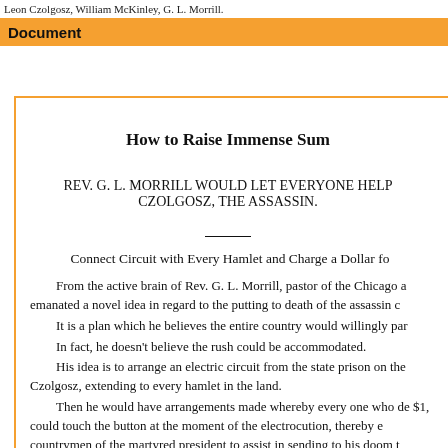Leon Czolgosz, William McKinley, G. L. Morrill.
Document
How to Raise Immense Sum
REV. G. L. MORRILL WOULD LET EVERYONE HELP CZOLGOSZ, THE ASSASSIN.
Connect Circuit with Every Hamlet and Charge a Dollar for
From the active brain of Rev. G. L. Morrill, pastor of the Chicago a emanated a novel idea in regard to the putting to death of the assassin C It is a plan which he believes the entire country would willingly par In fact, he doesn't believe the rush could be accommodated. His idea is to arrange an electric circuit from the state prison on the Czolgosz, extending to every hamlet in the land. Then he would have arrangements made whereby every one who de $1, could touch the button at the moment of the electrocution, thereby e countrymen of the martyred president to assist in sending to his doom t "You would give a dollar for such a privilege, wouldn't you?" he as